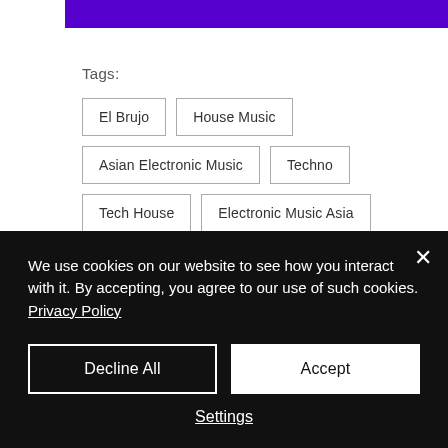[Figure (other): Purple decorative banner bar at top of page]
Tags:
El Brujo
House Music
Asian Electronic Music
Techno
Tech House
Electronic Music Asia
House Music Asia
We use cookies on our website to see how you interact with it. By accepting, you agree to our use of such cookies. Privacy Policy
Decline All
Accept
Settings